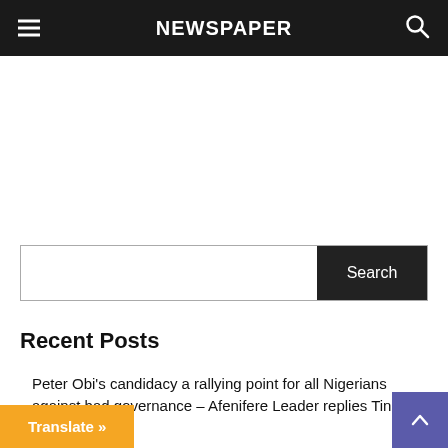NEWSPAPER
Search
Recent Posts
Peter Obi's candidacy a rallying point for all Nigerians against bad governance – Afenifere Leader replies Tinubu, Yoruba